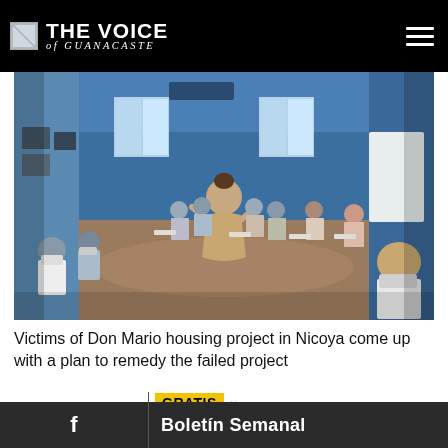THE VOICE of GUANACASTE
[Figure (photo): A woman in a long tan dress stands in the center of a large blue-walled community hall, speaking to participants who are seated in chairs arranged around the room, all wearing face masks. The scene depicts a community meeting about the Don Mario housing project in Nicoya.]
Victims of Don Mario housing project in Nicoya come up with a plan to remedy the failed project
GRATIS ×
Boletín Semanal